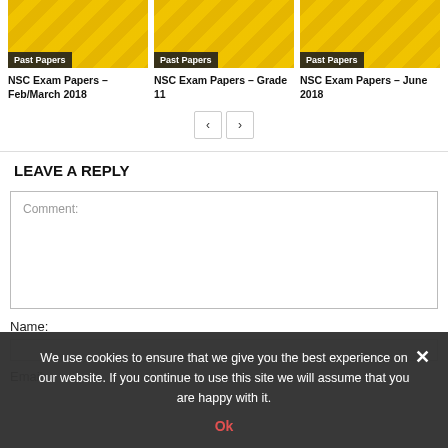[Figure (screenshot): Card image for NSC Exam Papers Feb/March 2018 with yellow Past Papers label]
NSC Exam Papers – Feb/March 2018
[Figure (screenshot): Card image for NSC Exam Papers Grade 11 with yellow Past Papers label]
NSC Exam Papers – Grade 11
[Figure (screenshot): Card image for NSC Exam Papers June 2018 with yellow Past Papers label]
NSC Exam Papers – June 2018
LEAVE A REPLY
Comment:
Name:
Email:
We use cookies to ensure that we give you the best experience on our website. If you continue to use this site we will assume that you are happy with it.
Ok